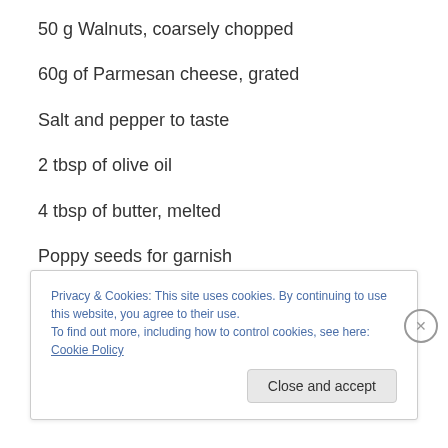50 g Walnuts, coarsely chopped
60g of Parmesan cheese, grated
Salt and pepper to taste
2 tbsp of olive oil
4 tbsp of butter, melted
Poppy seeds for garnish
Pre-heat your oven to 350 deg F (180 C).  On your baking
Privacy & Cookies: This site uses cookies. By continuing to use this website, you agree to their use.
To find out more, including how to control cookies, see here: Cookie Policy